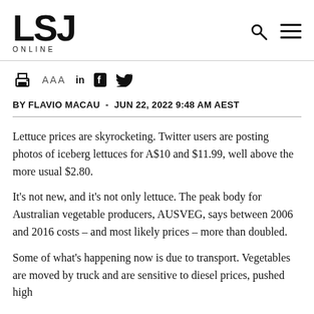LSJ ONLINE
[Figure (logo): LSJ ONLINE logo with search and hamburger menu icons]
[Figure (infographic): Toolbar with print icon, AAA font size controls, LinkedIn, Facebook, and Twitter social icons]
BY FLAVIO MACAU  -  JUN 22, 2022 9:48 AM AEST
Lettuce prices are skyrocketing. Twitter users are posting photos of iceberg lettuces for A$10 and $11.99, well above the more usual $2.80.
It's not new, and it's not only lettuce. The peak body for Australian vegetable producers, AUSVEG, says between 2006 and 2016 costs – and most likely prices – more than doubled.
Some of what's happening now is due to transport. Vegetables are moved by truck and are sensitive to diesel prices, pushed high